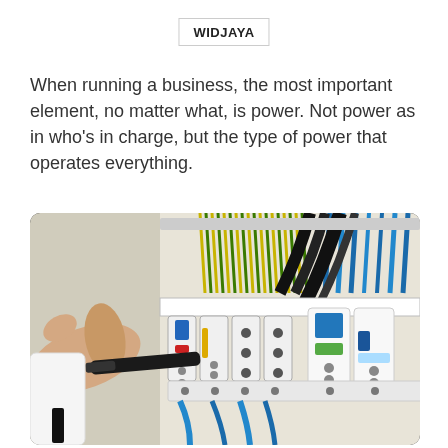WIDJAYA
When running a business, the most important element, no matter what, is power. Not power as in who’s in charge, but the type of power that operates everything.
[Figure (photo): Close-up photo of an electrical panel/fuse box with colorful wires (yellow-green, blue, black) and circuit breakers, with a hand holding a screwdriver or tool working on the panel.]